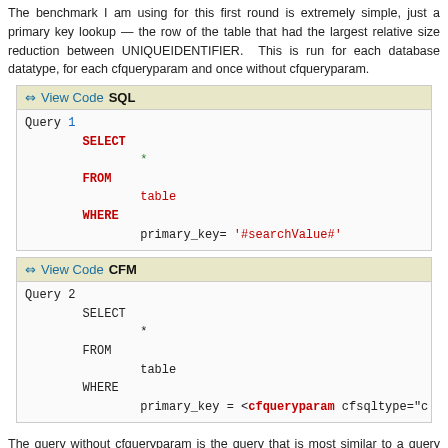The benchmark I am using for this first round is extremely simple, just a primary key lookup — the row of the table that had the largest relative size reduction between UNIQUEIDENTIFIER. This is run for each database datatype, for each cfqueryparam and once without cfqueryparam.
[Figure (screenshot): Code block titled 'View Code SQL' showing a SQL SELECT query: SELECT * FROM table WHERE primary_key= '#searchValue#']
[Figure (screenshot): Code block titled 'View Code CFM' showing a CFM SELECT query: SELECT * FROM table WHERE primary_key = <cfqueryparam cfsqltype="c...]
The query without cfqueryparam is the query that is most similar to a query run from the MS SQL Management Studio. It is only included to provide a reference. believe the results at first, I would not want this in any production code. The results, averaged over all runs and all drivers.